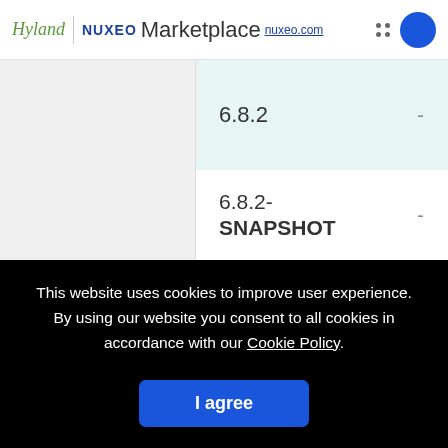Hyland | nuxeo Marketplace nuxeo.com
| Version |  |
| --- | --- |
| 6.8.2 | - |
| 6.8.2-SNAPSHOT | - |
This website uses cookies to improve user experience. By using our website you consent to all cookies in accordance with our Cookie Policy.
I agree